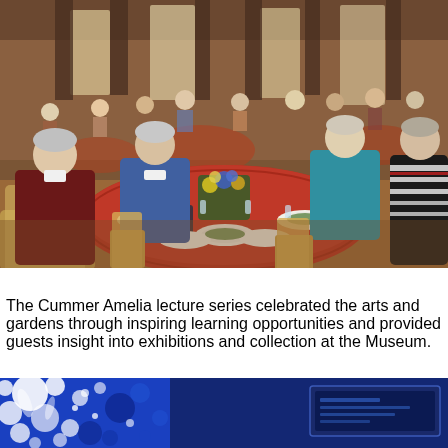[Figure (photo): Women seated at a round table with red tablecloth in a banquet hall setting, with food plates, glasses, and a flower centerpiece. Multiple tables visible in background with many guests.]
The Cummer Amelia lecture series celebrated the arts and gardens through inspiring learning opportunities and provided guests insight into exhibitions and collection at the Museum.
[Figure (photo): Partial view of a blue and white abstract art piece or banner, with splattered paint effect. A rectangular frame or sign is visible within the image.]